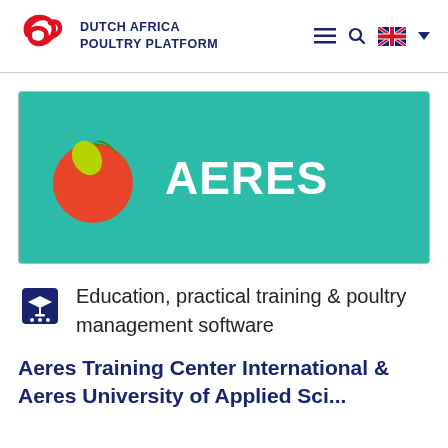[Figure (logo): Dutch Africa Poultry Platform logo with red stylized bird icon and dark blue text reading DUTCH AFRICA POULTRY PLATFORM, with navigation icons (hamburger menu, search, UK flag, dropdown)]
[Figure (logo): AERES logo on teal background: circular logo made of red-orange, green, and light green sections, with white bold text AERES]
Education, practical training & poultry management software
Aeres Training Center International & Aeres University of Applied Sci...